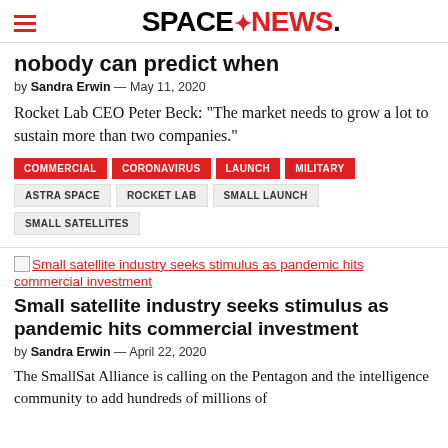SPACENEWS
nobody can predict when
by Sandra Erwin — May 11, 2020
Rocket Lab CEO Peter Beck: "The market needs to grow a lot to sustain more than two companies."
COMMERCIAL
CORONAVIRUS
LAUNCH
MILITARY
ASTRA SPACE
ROCKET LAB
SMALL LAUNCH
SMALL SATELLITES
[Figure (illustration): Broken image placeholder for article thumbnail]
Small satellite industry seeks stimulus as pandemic hits commercial investment
by Sandra Erwin — April 22, 2020
The SmallSat Alliance is calling on the Pentagon and the intelligence community to add hundreds of millions of